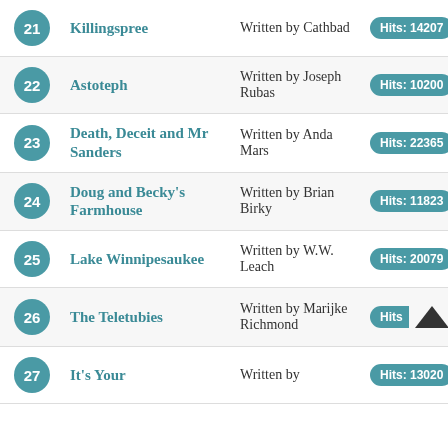| # | Title | Author | Hits |  |
| --- | --- | --- | --- | --- |
| 21 | Killingspree | Written by Cathbad | Hits: 14207 |  |
| 22 | Astoteph | Written by Joseph Rubas | Hits: 10200 |  |
| 23 | Death, Deceit and Mr Sanders | Written by Anda Mars | Hits: 22365 |  |
| 24 | Doug and Becky's Farmhouse | Written by Brian Birky | Hits: 11823 |  |
| 25 | Lake Winnipesaukee | Written by W.W. Leach | Hits: 20079 |  |
| 26 | The Teletubies | Written by Marijke Richmond | Hits: [partially obscured] |  |
| 27 | It's Your | Written by | Hits: 13020 |  |